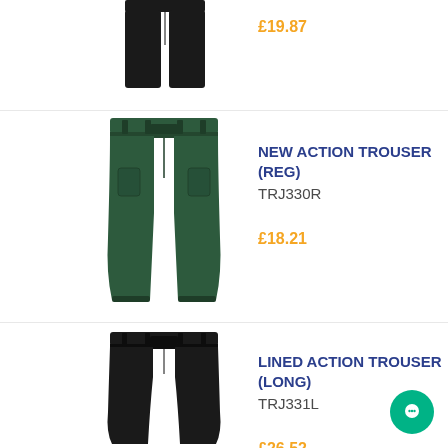£19.87
[Figure (photo): Black trousers, partially visible at top of page]
[Figure (photo): Dark green action trousers (regular fit)]
NEW ACTION TROUSER (REG)
TRJ330R
£18.21
[Figure (photo): Black lined action trousers (long fit)]
LINED ACTION TROUSER (LONG)
TRJ331L
£26.52